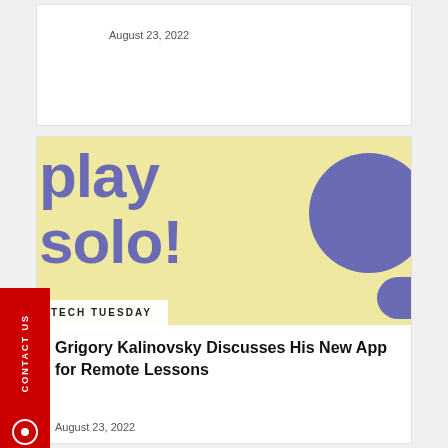August 23, 2022
[Figure (illustration): Yellow banner with large bold blue/purple text reading 'play solo!' with a blue-purple circle and arc shape on the right side. A white label at the bottom left reads 'TECH TUESDAY'.]
Grigory Kalinovsky Discusses His New App for Remote Lessons
August 23, 2022